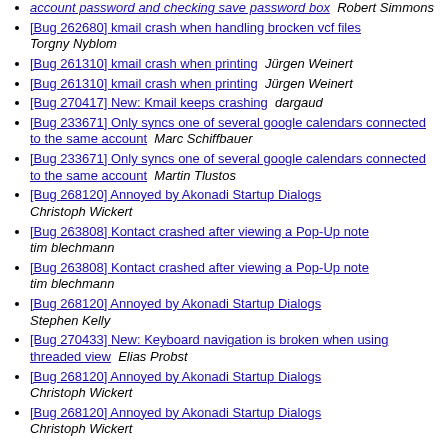account password and checking save password box  Robert Simmons
[Bug 262680] kmail crash when handling brocken vcf files  Torgny Nyblom
[Bug 261310] kmail crash when printing  Jürgen Weinert
[Bug 261310] kmail crash when printing  Jürgen Weinert
[Bug 270417] New: Kmail keeps crashing  dargaud
[Bug 233671] Only syncs one of several google calendars connected to the same account  Marc Schiffbauer
[Bug 233671] Only syncs one of several google calendars connected to the same account  Martin Tlustos
[Bug 268120] Annoyed by Akonadi Startup Dialogs  Christoph Wickert
[Bug 263808] Kontact crashed after viewing a Pop-Up note  tim blechmann
[Bug 263808] Kontact crashed after viewing a Pop-Up note  tim blechmann
[Bug 268120] Annoyed by Akonadi Startup Dialogs  Stephen Kelly
[Bug 270433] New: Keyboard navigation is broken when using threaded view  Elias Probst
[Bug 268120] Annoyed by Akonadi Startup Dialogs  Christoph Wickert
[Bug 268120] Annoyed by Akonadi Startup Dialogs  Christoph Wickert